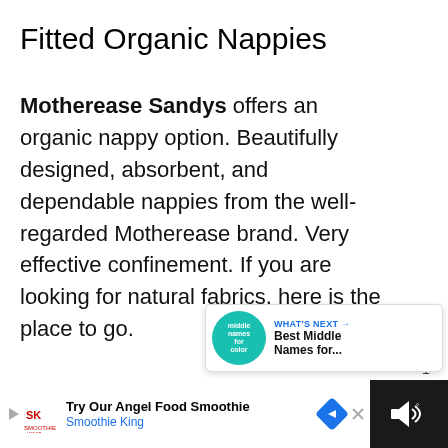Fitted Organic Nappies
Motherease Sandys offers an organic nappy option. Beautifully designed, absorbent, and dependable nappies from the well-regarded Motherease brand. Very effective confinement. If you are looking for natural fabrics, here is the place to go.
[Figure (screenshot): Heart/like button (blue circle with heart icon) with count of 1, and a share button (gray circle with share icon)]
[Figure (screenshot): What's Next card showing a teal circular thumbnail with text 'middle names for color' and heading 'Best Middle Names for...' with blue arrow label 'WHAT'S NEXT']
[Figure (screenshot): Bottom advertisement bar: white section with Smoothie King ad 'Try Our Angel Food Smoothie' with logo and navigation icon, dark right section with speaker/volume icon]